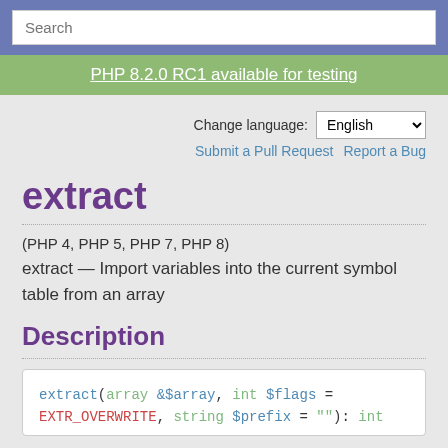Search
PHP 8.2.0 RC1 available for testing
Change language: English
Submit a Pull Request   Report a Bug
extract
(PHP 4, PHP 5, PHP 7, PHP 8)
extract — Import variables into the current symbol table from an array
Description
extract(array &$array, int $flags = EXTR_OVERWRITE, string $prefix = ""): int